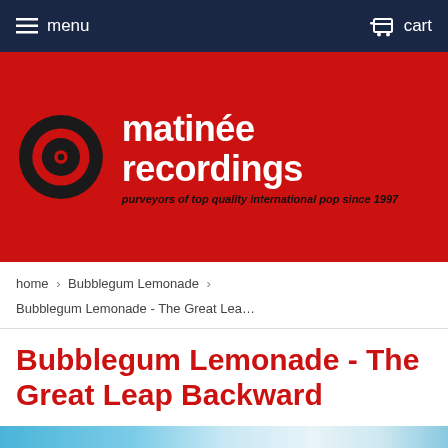menu  cart
[Figure (logo): Matinée Recordings logo — red background with vinyl record icon and brand name 'matinée recordings' with tagline 'purveyors of top quality international pop since 1997']
home › Bubblegum Lemonade ›
Bubblegum Lemonade - The Great Lea…
Bubblegum Lemonade - The Great Leap Backward
matcd077 / November 2016